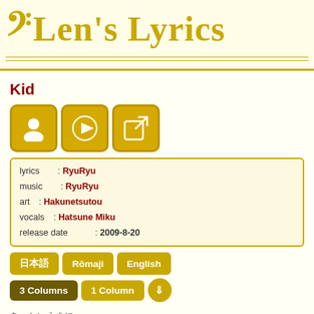Len's Lyrics
Kid
[Figure (infographic): Three golden icon buttons: person/profile icon, play button icon, and external link icon]
lyrics: RyuRyu
music: RyuRyu
art: Hakunetsutou
vocals: Hatsune Miku
release date: 2009-8-20
日本語  Rōmaji  English
3 Columns  1 Column  ⇓
あっという間に
  atto iu ma ni
    We grew up
あっという間に